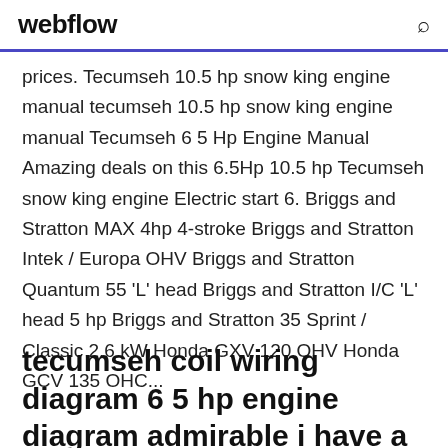webflow
prices. Tecumseh 10.5 hp snow king engine manual tecumseh 10.5 hp snow king engine manual Tecumseh 6 5 Hp Engine Manual Amazing deals on this 6.5Hp 10.5 hp Tecumseh snow king engine Electric start 6. Briggs and Stratton MAX 4hp 4-stroke Briggs and Stratton Intek / Europa OHV Briggs and Stratton Quantum 55 'L' head Briggs and Stratton I/C 'L' head 5 hp Briggs and Stratton 35 Sprint / Classic 2.6 kW Honda GXV 120 OHV Honda GCV 135 OHC...
tecumseh coil wiring diagram 6 5 hp engine diagram admirable i have a generator with a wiring